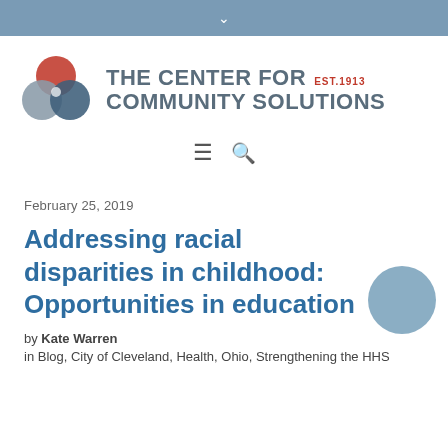The Center for Community Solutions — EST. 1913
[Figure (logo): The Center for Community Solutions logo with three overlapping circles (red, gray, dark blue/teal) and organization name text with EST. 1913]
February 25, 2019
Addressing racial disparities in childhood: Opportunities in education
by Kate Warren
in Blog, City of Cleveland, Health, Ohio, Strengthening the HHS